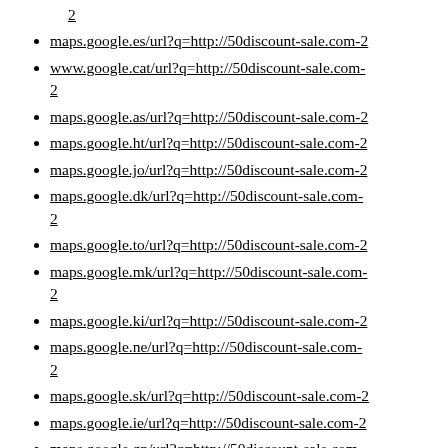2
maps.google.es/url?q=http://50discount-sale.com-2
www.google.cat/url?q=http://50discount-sale.com-2
maps.google.as/url?q=http://50discount-sale.com-2
maps.google.ht/url?q=http://50discount-sale.com-2
maps.google.jo/url?q=http://50discount-sale.com-2
maps.google.dk/url?q=http://50discount-sale.com-2
maps.google.to/url?q=http://50discount-sale.com-2
maps.google.mk/url?q=http://50discount-sale.com-2
maps.google.ki/url?q=http://50discount-sale.com-2
maps.google.ne/url?q=http://50discount-sale.com-2
maps.google.sk/url?q=http://50discount-sale.com-2
maps.google.ie/url?q=http://50discount-sale.com-2
maps.google.gp/url?q=http://50discount-sale.com-2